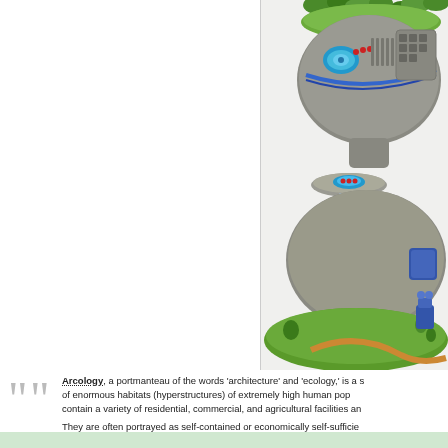[Figure (illustration): A futuristic arcology illustration showing a massive sci-fi building structure with rounded grey forms, blue accents, green vegetation on top, sitting on a green landscape with orange paths. The structure has mechanical details, circular windows, and a floating disc element.]
Arcology, a portmanteau of the words 'architecture' and 'ecology,' is a set of enormous habitats (hyperstructures) of extremely high human population density that contain a variety of residential, commercial, and agricultural facilities and would contain a large enough population to be self-sustaining. They are often portrayed as self-contained or economically self-sufficient. The term was itself coined, by architect Italian-American architect, Paolo Soleri, and ap...